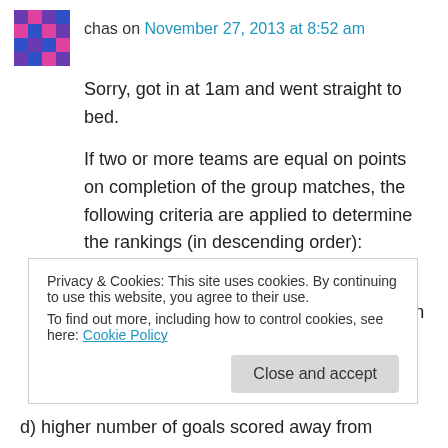chas on November 27, 2013 at 8:52 am
Sorry, got in at 1am and went straight to bed.
If two or more teams are equal on points on completion of the group matches, the following criteria are applied to determine the rankings (in descending order):
a) higher number of points obtained in the group matches played among the teams in question;
Privacy & Cookies: This site uses cookies. By continuing to use this website, you agree to their use.
To find out more, including how to control cookies, see here: Cookie Policy
d) higher number of goals scored away from